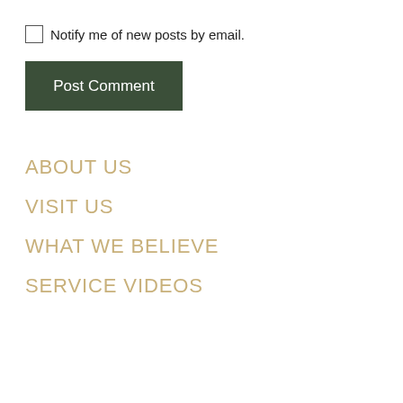Notify me of new posts by email.
Post Comment
ABOUT US
VISIT US
WHAT WE BELIEVE
SERVICE VIDEOS